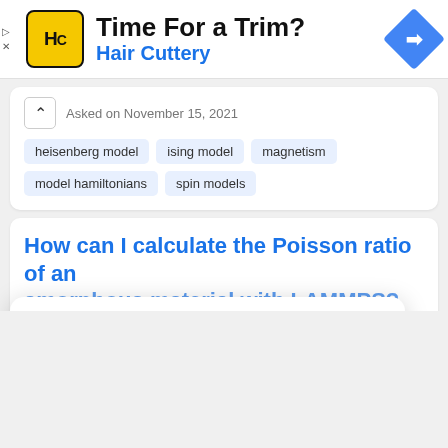[Figure (screenshot): Hair Cuttery advertisement banner with logo, title 'Time For a Trim?', subtitle 'Hair Cuttery', and a blue navigation diamond icon on the right.]
Asked on November 15, 2021
heisenberg model
ising model
magnetism
model hamiltonians
spin models
How can I calculate the Poisson ratio of an amorphous material with LAMMPS?
We use our own and third-party cookies to personalize content and to analyze web traffic. Read more about cookies